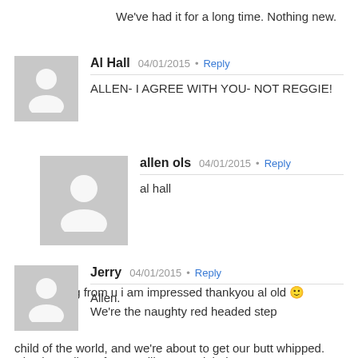We've had it for a long time. Nothing new.
Al Hall  04/01/2015 · Reply
ALLEN- I AGREE WITH YOU- NOT REGGIE!
allen ols  04/01/2015 · Reply
al hall

wow coming from u i am impressed thankyou al old 🙂
Jerry  04/01/2015 · Reply
Allen.
We're the naughty red headed step child of the world, and we're about to get our butt whipped. Nice how all our former allies turned their